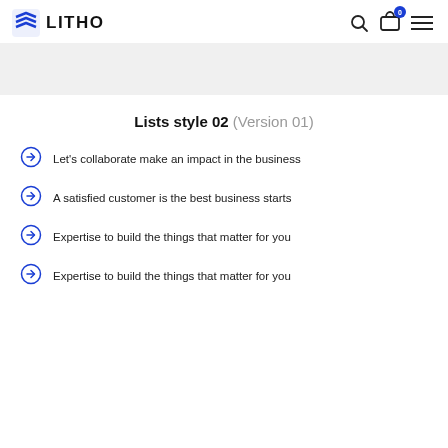LITHO
[Figure (illustration): Grey banner/hero image placeholder area]
Lists style 02 (Version 01)
Let's collaborate make an impact in the business
A satisfied customer is the best business starts
Expertise to build the things that matter for you
Expertise to build the things that matter for you